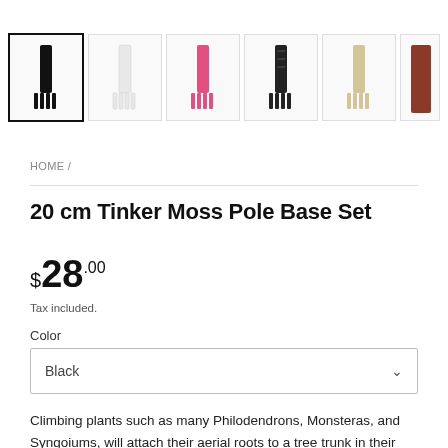[Figure (screenshot): Product thumbnail strip showing 6 moss pole product images in different colors (black, white, pink, black pattern, beige, red/brown) with left and right navigation arrows]
HOME /
20 cm Tinker Moss Pole Base Set
$28.00
Tax included.
Color
Black
Climbing plants such as many Philodendrons, Monsteras, and Syngoiums, will attach their aerial roots to a tree trunk in their natural environment, providing them with support